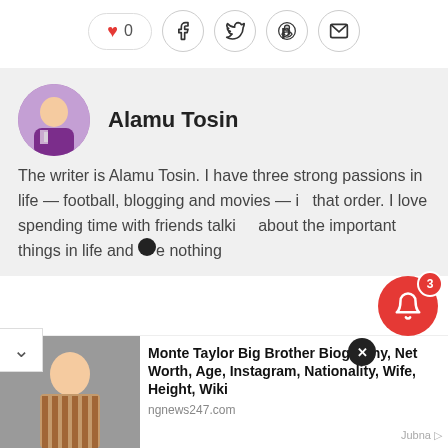[Figure (infographic): Social share bar with heart/like button showing 0, and icons for Facebook, Twitter, Pinterest, and email]
Alamu Tosin
The writer is Alamu Tosin. I have three strong passions in life — football, blogging and movies — in that order. I love spending time with friends talking about the important things in life and ...e nothing
[Figure (infographic): Advertisement: Monte Taylor Big Brother Biography, Net Worth, Age, Instagram, Nationality, Wife, Height, Wiki — ngnews247.com — Jubna ad]
Monte Taylor Big Brother Biography, Net Worth, Age, Instagram, Nationality, Wife, Height, Wiki
ngnews247.com